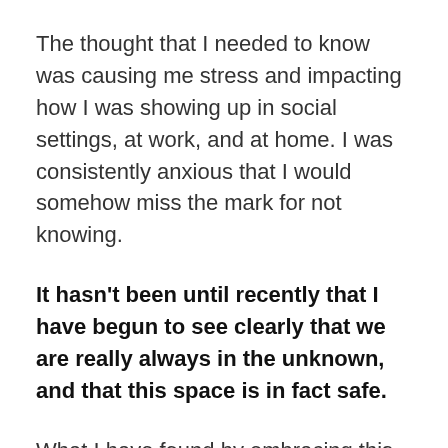The thought that I needed to know was causing me stress and impacting how I was showing up in social settings, at work, and at home. I was consistently anxious that I would somehow miss the mark for not knowing.
It hasn't been until recently that I have begun to see clearly that we are really always in the unknown, and that this space is in fact safe.
What I have found by embracing this truth is that I am much more open to the resourcefulness of my wisdom to guide me in